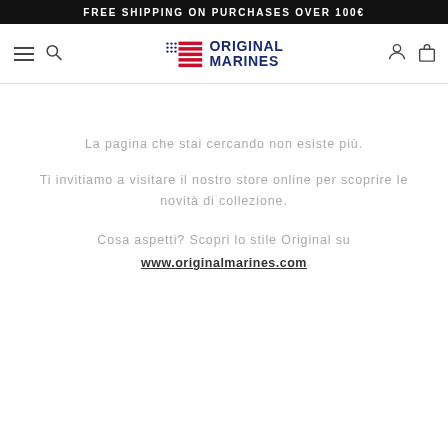FREE SHIPPING ON PURCHASES OVER 100€
[Figure (logo): Original Marines logo with American flag icon and brand name text]
La pagina che stai cercando non esiste più.
Ti invitiamo a visitare il nostro store online per scoprire le novità di collezione.
Cosa aspetti? Scopri lo stile Original su www.originalmarines.com